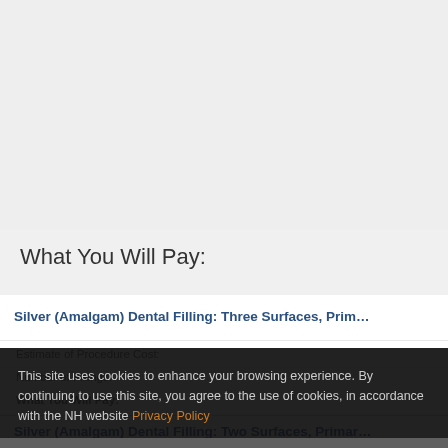What You Will Pay:
Silver (Amalgam) Dental Filling: Three Surfaces, Prim...
Estimate of Procedure Cost:
Number of Fillings:
What You Will Pay:
This site uses cookies to enhance your browsing experience. By continuing to use this site, you agree to the use of cookies, in accordance with the NH website Privacy Policy
OK ✓
Silver (Amalgam) Dental Filling: Two Surfaces, Primar...
Estimate of Procedure Cost: